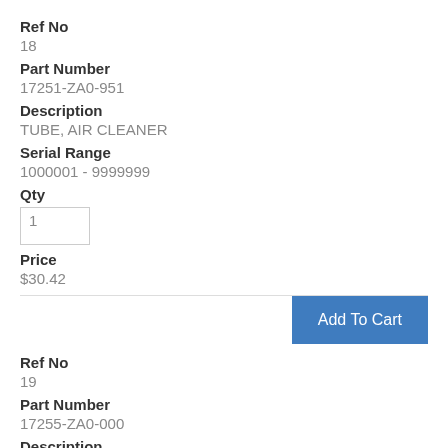Ref No
18
Part Number
17251-ZA0-951
Description
TUBE, AIR CLEANER
Serial Range
1000001 - 9999999
Qty
Price
$30.42
Add To Cart
Ref No
19
Part Number
17255-ZA0-000
Description
BAND, CONNECTING TUBE